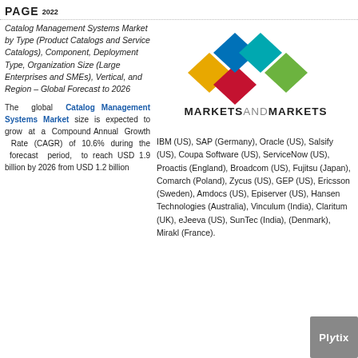PAGE 2022
Catalog Management Systems Market by Type (Product Catalogs and Service Catalogs), Component, Deployment Type, Organization Size (Large Enterprises and SMEs), Vertical, and Region – Global Forecast to 2026
[Figure (logo): MarketsandMarkets logo with colorful diamond shapes above the text MARKETSANDMARKETS]
The global Catalog Management Systems Market size is expected to grow at a Compound Annual Growth Rate (CAGR) of 10.6% during the forecast period, to reach USD 1.9 billion by 2026 from USD 1.2 billion
IBM (US), SAP (Germany), Oracle (US), Salsify (US), Coupa Software (US), ServiceNow (US), Proactis (England), Broadcom (US), Fujitsu (Japan), Comarch (Poland), Zycus (US), GEP (US), Ericsson (Sweden), Amdocs (US), Episerver (US), Hansen Technologies (Australia), Vinculum (India), Claritum (UK), eJeeva (US), SunTec (India), (Denmark), Mirakl (France).